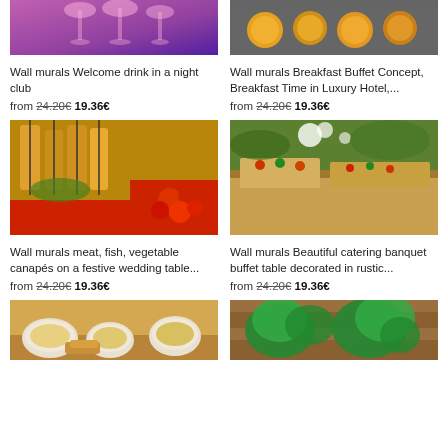[Figure (photo): Top-left: cocktail glasses with pink lighting at a night club]
Wall murals Welcome drink in a night club
from 24.20€ 19.36€
[Figure (photo): Top-right: breakfast buffet with bowls of food in a hotel]
Wall murals Breakfast Buffet Concept, Breakfast Time in Luxury Hotel,...
from 24.20€ 19.36€
[Figure (photo): Middle-left: canapés with meat, fish, vegetables on skewers and cherry tomatoes]
Wall murals meat, fish, vegetable canapés on a festive wedding table...
from 24.20€ 19.36€
[Figure (photo): Middle-right: catering banquet buffet table with appetizers decorated in rustic style outdoors]
Wall murals Beautiful catering banquet buffet table decorated in rustic...
from 24.20€ 19.36€
[Figure (photo): Bottom-left: bowls of pasta and bread on wooden surface]
[Figure (photo): Bottom-right: fresh green herbs including basil on wooden surface]